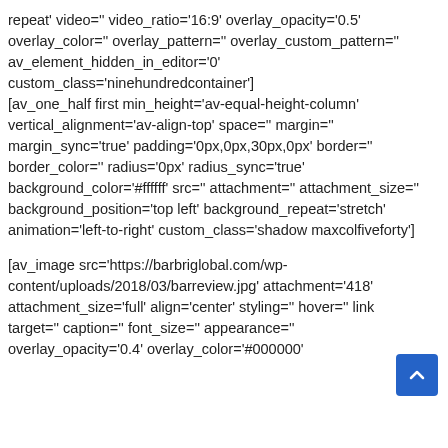repeat' video='' video_ratio='16:9' overlay_opacity='0.5' overlay_color='' overlay_pattern='' overlay_custom_pattern='' av_element_hidden_in_editor='0' custom_class='ninehundredcontainer'] [av_one_half first min_height='av-equal-height-column' vertical_alignment='av-align-top' space='' margin='' margin_sync='true' padding='0px,0px,30px,0px' border='' border_color='' radius='0px' radius_sync='true' background_color='#ffffff' src='' attachment='' attachment_size='' background_position='top left' background_repeat='stretch' animation='left-to-right' custom_class='shadow maxcolfiveforty']
[av_image src='https://barbriglobal.com/wp-content/uploads/2018/03/barreview.jpg' attachment='418' attachment_size='full' align='center' styling='' hover='' link='' target='' caption='' font_size='' appearance='' overlay_opacity='0.4' overlay_color='#000000'...